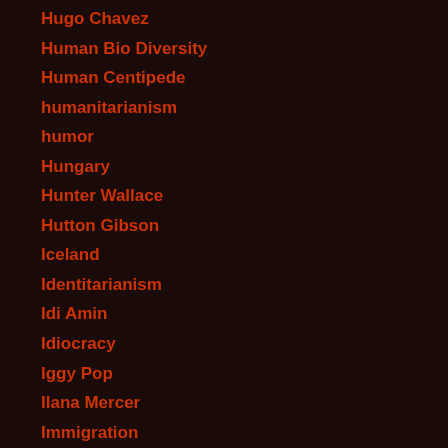Hugo Chavez
Human Bio Diversity
Human Centipede
humanitarianism
humor
Hungary
Hunter Wallace
Hutton Gibson
Iceland
Identitarianism
Idi Amin
Idiocracy
Iggy Pop
Ilana Mercer
Immigration